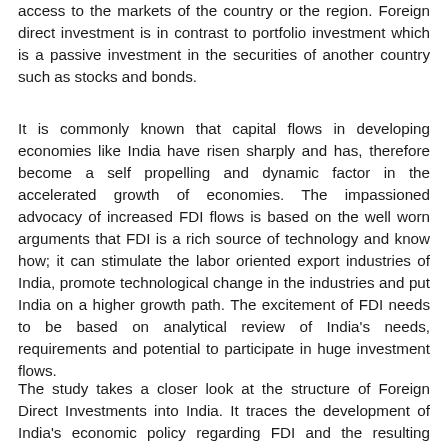access to the markets of the country or the region. Foreign direct investment is in contrast to portfolio investment which is a passive investment in the securities of another country such as stocks and bonds.
It is commonly known that capital flows in developing economies like India have risen sharply and has, therefore become a self propelling and dynamic factor in the accelerated growth of economies. The impassioned advocacy of increased FDI flows is based on the well worn arguments that FDI is a rich source of technology and know how; it can stimulate the labor oriented export industries of India, promote technological change in the industries and put India on a higher growth path. The excitement of FDI needs to be based on analytical review of India's needs, requirements and potential to participate in huge investment flows.
The study takes a closer look at the structure of Foreign Direct Investments into India. It traces the development of India's economic policy regarding FDI and the resulting changes. The expansion of FDI in India has been followed